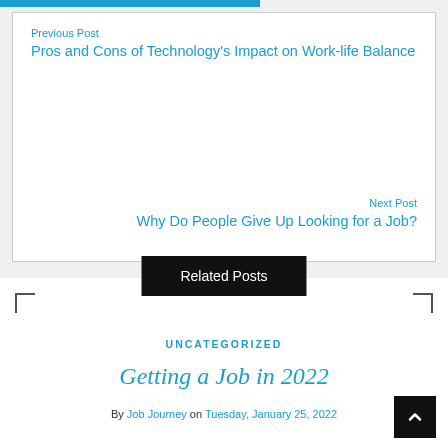Previous Post
Pros and Cons of Technology's Impact on Work-life Balance
Next Post
Why Do People Give Up Looking for a Job?
Related Posts
UNCATEGORIZED
Getting a Job in 2022
By Job Journey on Tuesday, January 25, 2022